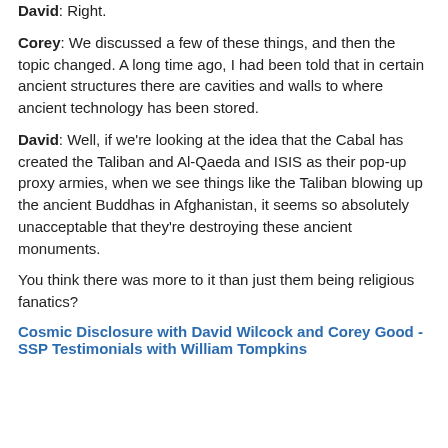David: Right.
Corey: We discussed a few of these things, and then the topic changed. A long time ago, I had been told that in certain ancient structures there are cavities and walls to where ancient technology has been stored.
David: Well, if we're looking at the idea that the Cabal has created the Taliban and Al-Qaeda and ISIS as their pop-up proxy armies, when we see things like the Taliban blowing up the ancient Buddhas in Afghanistan, it seems so absolutely unacceptable that they're destroying these ancient monuments.

You think there was more to it than just them being religious fanatics?
Cosmic Disclosure with David Wilcock and Corey Good - SSP Testimonials with William Tompkins